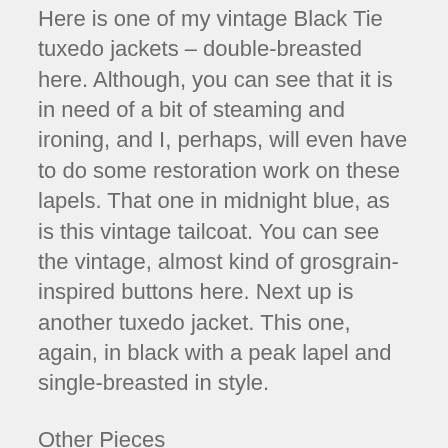Here is one of my vintage Black Tie tuxedo jackets – double-breasted here. Although, you can see that it is in need of a bit of steaming and ironing, and I, perhaps, will even have to do some restoration work on these lapels. That one in midnight blue, as is this vintage tailcoat. You can see the vintage, almost kind of grosgrain-inspired buttons here. Next up is another tuxedo jacket. This one, again, in black with a peak lapel and single-breasted in style.
Other Pieces
Here then are pieces that I still have in my wardrobe, but that I don't wear terribly often. This again is a medium to light gray suit and that was included in my things I regret buying